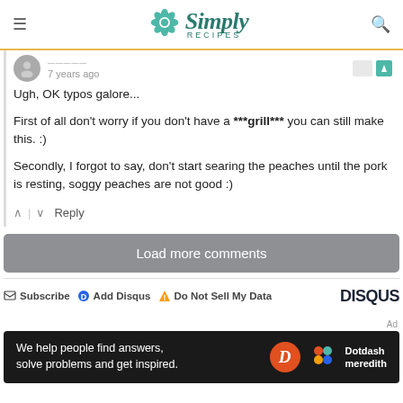Simply Recipes
7 years ago
Ugh, OK typos galore...

First of all don't worry if you don't have a ***grill*** you can still make this. :)

Secondly, I forgot to say, don't start searing the peaches until the pork is resting, soggy peaches are not good :)
Load more comments
Subscribe  Add Disqus  Do Not Sell My Data  DISQUS
[Figure (screenshot): Dotdash Meredith advertisement banner: 'We help people find answers, solve problems and get inspired.' with Dotdash Meredith logo]